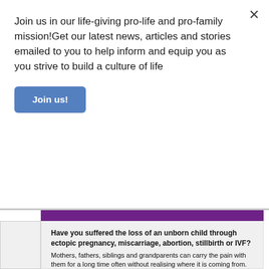Join us in our life-giving pro-life and pro-family mission!Get our latest news, articles and stories emailed to you to help inform and equip you as you strive to build a culture of life
Join us!
[Figure (illustration): Purple banner with gold cursive 'hope' script, white text 'after abortion', and lighter text 'peace starts here']
Have you suffered the loss of an unborn child through ectopic pregnancy, miscarriage, abortion, stillbirth or IVF?
Mothers, fathers, siblings and grandparents can carry the pain with them for a long time often without realising where it is coming from.  This sense of loss can form a deep hole, and it may seem as if nothing can fill it.